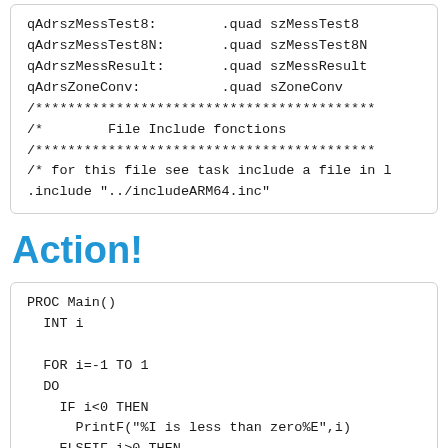[Figure (screenshot): Code block showing assembly-like data directives: qAdrszMessTest8, qAdrszMessTest8N, qAdrszMessResult, qAdrsZoneConv with .quad assignments, followed by comment lines and .include directive]
Action!
[Figure (screenshot): Code block showing PROC Main() with INT i declaration, FOR i=-1 TO 1 loop, DO block with IF i<0 THEN PrintF("%I is less than zero%E",i), ELSEIF i>0 THEN PrintF("%I is greater than zero%E",i) - partially cut off]